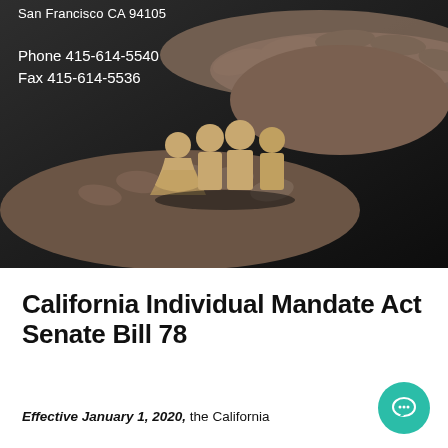[Figure (photo): Dark background photo showing hands holding paper cutout silhouettes of a family group (three figures), with text overlay showing San Francisco CA 94105 address, phone and fax numbers]
San Francisco CA 94105
Phone 415-614-5540
Fax 415-614-5536
California Individual Mandate Act Senate Bill 78
Effective January 1, 2020, the California